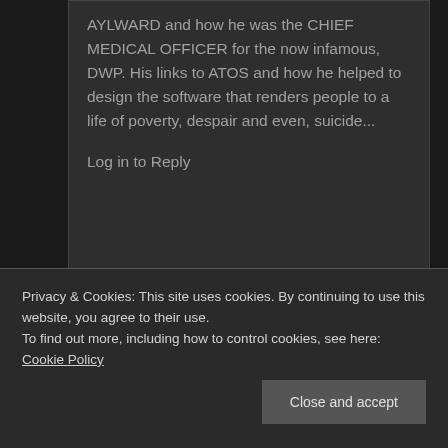AYLWARD and how he was the CHIEF MEDICAL OFFICER for the now infamous, DWP. His links to ATOS and how he helped to design the software that renders people to a life of poverty, despair and even, suicide...
Log in to Reply
Privacy & Cookies: This site uses cookies. By continuing to use this website, you agree to their use.
To find out more, including how to control cookies, see here: Cookie Policy
Close and accept